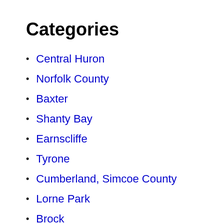Categories
Central Huron
Norfolk County
Baxter
Shanty Bay
Earnscliffe
Tyrone
Cumberland, Simcoe County
Lorne Park
Brock